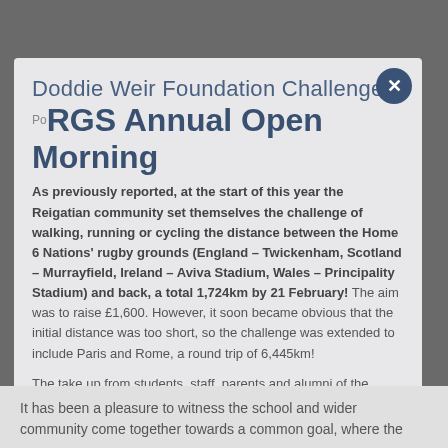Doddie Weir Foundation Challenge
RGS Annual Open Morning
As previously reported, at the start of this year the Reigatian community set themselves the challenge of walking, running or cycling the distance between the Home 6 Nations' rugby grounds (England – Twickenham, Scotland – Murrayfield, Ireland – Aviva Stadium, Wales – Principality Stadium) and back, a total 1,724km by 21 February! The aim was to raise £1,600. However, it soon became obvious that the initial distance was too short, so the challenge was extended to include Paris and Rome, a round trip of 6,445km!
The take up from students, staff, parents and alumni of the school has been amazing – linking the PE challenge of the week using Strava art to the competition between the different facets of the community (staff beating parents by just one entry).
It has been a pleasure to witness the school and wider community come together towards a common goal, where the